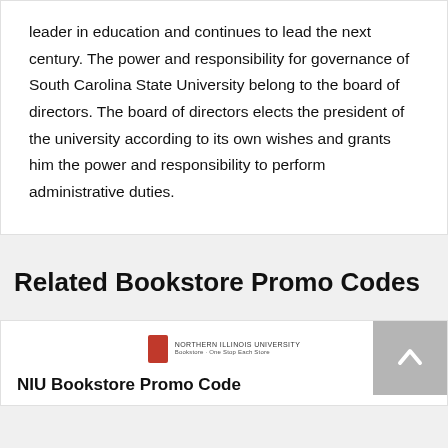leader in education and continues to lead the next century. The power and responsibility for governance of South Carolina State University belong to the board of directors. The board of directors elects the president of the university according to its own wishes and grants him the power and responsibility to perform administrative duties.
Related Bookstore Promo Codes
[Figure (logo): NIU Bookstore logo with red book icon and university text]
NIU Bookstore Promo Code